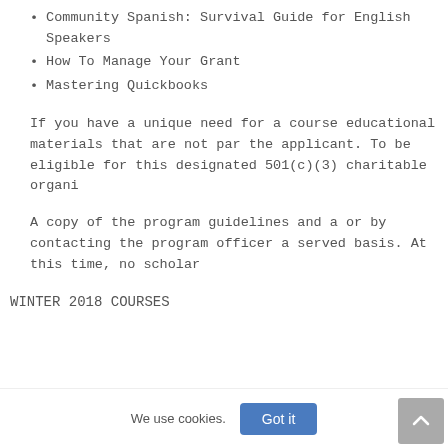Community Spanish: Survival Guide for English Speakers
How To Manage Your Grant
Mastering Quickbooks
If you have a unique need for a course educational materials that are not par the applicant. To be eligible for this designated 501(c)(3) charitable organi
A copy of the program guidelines and a or by contacting the program officer a served basis. At this time, no scholar
WINTER 2018 COURSES